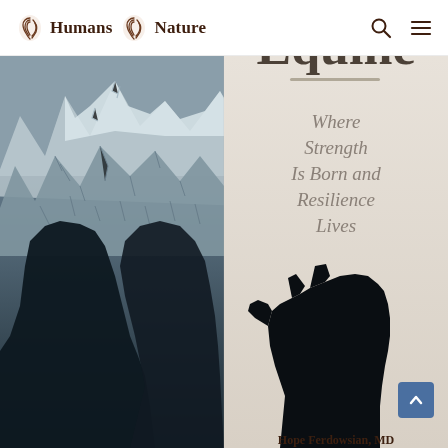Humans Nature
[Figure (illustration): Book cover showing a double-exposure image: left half is a human silhouette filled with a dramatic snow-capped mountain landscape, right half is a beige/cream background with book title and subtitle. A dark dog silhouette appears at lower right looking up. Book title partially cropped at top reads 'Equine' or similar. Subtitle reads 'Where Strength Is Born and Resilience Lives'. Author name partially visible at bottom: 'Hope Ferdowsian, MD']
Where Strength Is Born and Resilience Lives
Hope Ferdowsian, MD